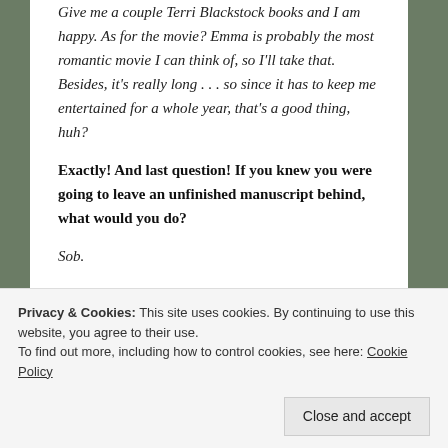Give me a couple Terri Blackstock books and I am happy. As for the movie? Emma is probably the most romantic movie I can think of, so I'll take that. Besides, it's really long . . . so since it has to keep me entertained for a whole year, that's a good thing, huh?
Exactly! And last question! If you knew you were going to leave an unfinished manuscript behind, what would you do?
Sob.
Haha! That and panic would probably be my reaction honestly. Thanks for coming over, Willowy!
About the Author
Privacy & Cookies: This site uses cookies. By continuing to use this website, you agree to their use. To find out more, including how to control cookies, see here: Cookie Policy
Close and accept